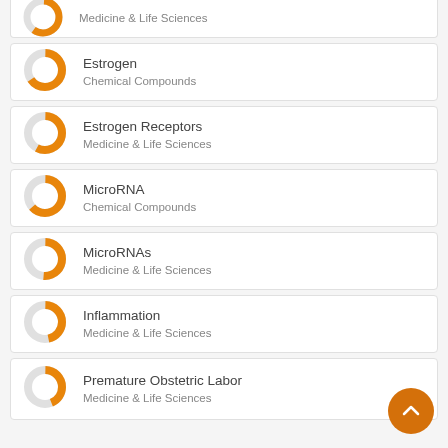Medicine & Life Sciences
Estrogen
Chemical Compounds
Estrogen Receptors
Medicine & Life Sciences
MicroRNA
Chemical Compounds
MicroRNAs
Medicine & Life Sciences
Inflammation
Medicine & Life Sciences
Premature Obstetric Labor
Medicine & Life Sciences